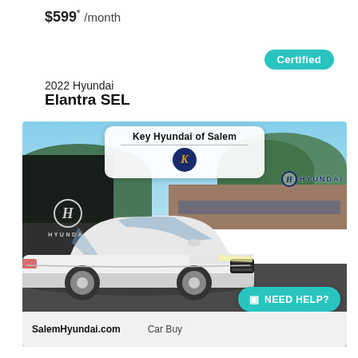$599* /month
Certified
2022 Hyundai
Elantra SEL
[Figure (photo): 2022 Hyundai Elantra SEL white sedan photographed at Key Hyundai of Salem dealership lot, with dealer badge overlay showing 'Key Hyundai of Salem', Hyundai signage on left wall and right building, SalemHyundai.com and Car Buy text at bottom, and a teal 'NEED HELP?' button.]